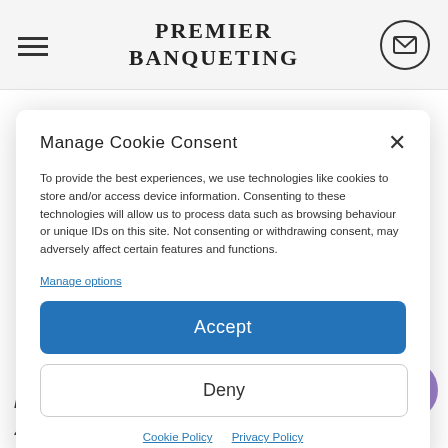PREMIER BANQUETING
Manage Cookie Consent
To provide the best experiences, we use technologies like cookies to store and/or access device information. Consenting to these technologies will allow us to process data such as browsing behaviour or unique IDs on this site. Not consenting or withdrawing consent, may adversely affect certain features and functions.
Manage options
Accept
Deny
Cookie Policy   Privacy Policy
bar, cutlery/crockery and gl
44. Premier Banqueting does not charge corkage for the